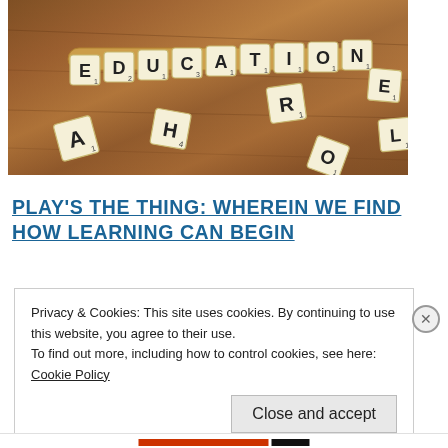[Figure (photo): Scrabble tiles spelling EDUCATION on a wooden surface, with scattered individual tiles showing letters A, H, R, E, L, and others on a brown wooden background.]
PLAY'S THE THING: WHEREIN WE FIND HOW LEARNING CAN BEGIN
Privacy & Cookies: This site uses cookies. By continuing to use this website, you agree to their use.
To find out more, including how to control cookies, see here:
Cookie Policy